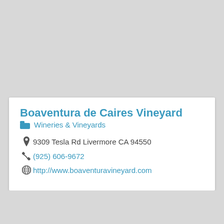Boaventura de Caires Vineyard
Wineries & Vineyards
9309 Tesla Rd Livermore CA 94550
(925) 606-9672
http://www.boaventuravineyard.com